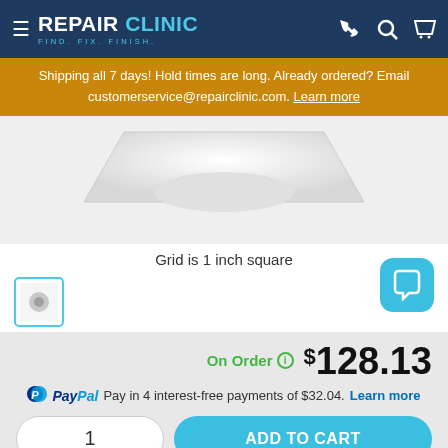REPAIR CLINIC — FIND. FIX. FINISH.
Shipping all 7 days! Hold times are long. Already ordered? Email customerservice@repairclinic.com. Learn more
[Figure (photo): Product image area showing a part on a light grey background]
Grid is 1 inch square
[Figure (photo): Thumbnail image of product with blue border, and a teal chat button]
On Order  $128.13
PayPal Pay in 4 interest-free payments of $32.04. Learn more
1
ADD TO CART